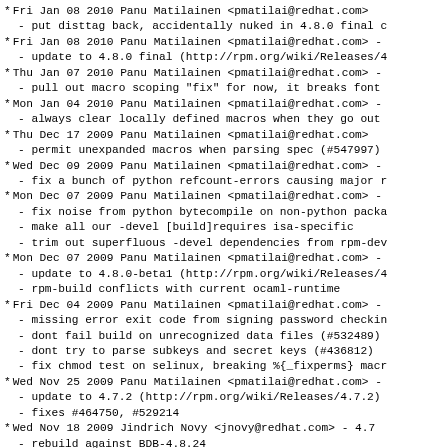* Fri Jan 08 2010 Panu Matilainen <pmatilai@redhat.com> -
  - put disttag back, accidentally nuked in 4.8.0 final c
* Fri Jan 08 2010 Panu Matilainen <pmatilai@redhat.com> -
  - update to 4.8.0 final (http://rpm.org/wiki/Releases/4
* Thu Jan 07 2010 Panu Matilainen <pmatilai@redhat.com> -
  - pull out macro scoping "fix" for now, it breaks font
* Mon Jan 04 2010 Panu Matilainen <pmatilai@redhat.com> -
  - always clear locally defined macros when they go out
* Thu Dec 17 2009 Panu Matilainen <pmatilai@redhat.com> -
  - permit unexpanded macros when parsing spec (#547997)
* Wed Dec 09 2009 Panu Matilainen <pmatilai@redhat.com> -
  - fix a bunch of python refcount-errors causing major r
* Mon Dec 07 2009 Panu Matilainen <pmatilai@redhat.com> -
  - fix noise from python bytecompile on non-python packa
  - make all our -devel [build]requires isa-specific
  - trim out superfluous -devel dependencies from rpm-dev
* Mon Dec 07 2009 Panu Matilainen <pmatilai@redhat.com> -
  - update to 4.8.0-beta1 (http://rpm.org/wiki/Releases/4
  - rpm-build conflicts with current ocaml-runtime
* Fri Dec 04 2009 Panu Matilainen <pmatilai@redhat.com> -
  - missing error exit code from signing password checkin
  - dont fail build on unrecognized data files (#532489)
  - dont try to parse subkeys and secret keys (#436812)
  - fix chmod test on selinux, breaking %{_fixperms} macr
* Wed Nov 25 2009 Panu Matilainen <pmatilai@redhat.com> -
  - update to 4.7.2 (http://rpm.org/wiki/Releases/4.7.2)
  - fixes #464750, #529214
* Wed Nov 18 2009 Jindrich Novy <jnovy@redhat.com> - 4.7
  - rebuild against BDB-4.8.24
* Wed Nov 18 2009 Jindrich Novy <jnovy@redhat.com> - 4.7